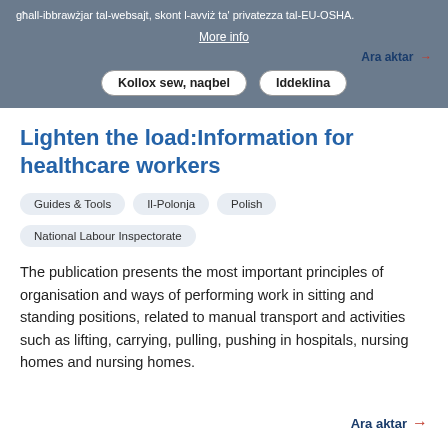għall-ibbrawżjar tal-websajt, skont l-avviż ta' privatezza tal-EU-OSHA.
More info
Ara aktar →
Kollox sew, naqbel
Iddeklina
Lighten the load:Information for healthcare workers
Guides & Tools
Il-Polonja
Polish
National Labour Inspectorate
The publication presents the most important principles of organisation and ways of performing work in sitting and standing positions, related to manual transport and activities such as lifting, carrying, pulling, pushing in hospitals, nursing homes and nursing homes.
Ara aktar →